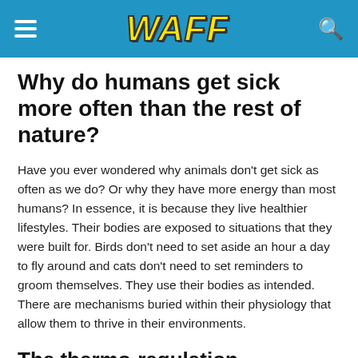WAFF
Why do humans get sick more often than the rest of nature?
Have you ever wondered why animals don't get sick as often as we do? Or why they have more energy than most humans? In essence, it is because they live healthier lifestyles. Their bodies are exposed to situations that they were built for. Birds don't need to set aside an hour a day to fly around and cats don't need to set reminders to groom themselves. They use their bodies as intended. There are mechanisms buried within their physiology that allow them to thrive in their environments.
The thermo-regulation mechanism